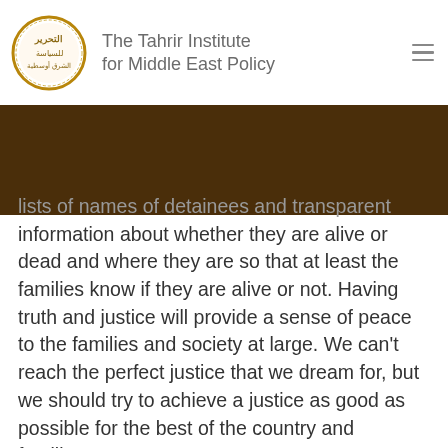The Tahrir Institute for Middle East Policy
lists of names of detainees and transparent information about whether they are alive or dead and where they are so that at least the families know if they are alive or not. Having truth and justice will provide a sense of peace to the families and society at large. We can't reach the perfect justice that we dream for, but we should try to achieve a justice as good as possible for the best of the country and families.